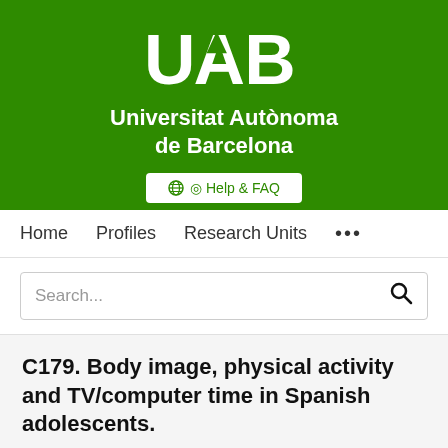[Figure (logo): UAB (Universitat Autònoma de Barcelona) logo and name on green background, with Help & FAQ button]
Home   Profiles   Research Units   ...
Search...
C179. Body image, physical activity and TV/computer time in Spanish adolescents.